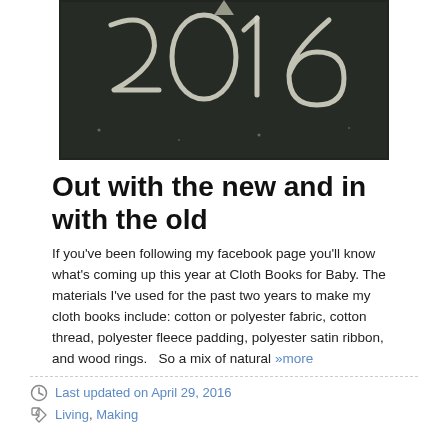[Figure (photo): Chalkboard with '2016' written in chalk, partially visible from top]
Out with the new and in with the old
If you've been following my facebook page you'll know what's coming up this year at Cloth Books for Baby. The materials I've used for the past two years to make my cloth books include: cotton or polyester fabric, cotton thread, polyester fleece padding, polyester satin ribbon, and wood rings.   So a mix of natural »more
Last updated on April 29, 2016 | Living, Making